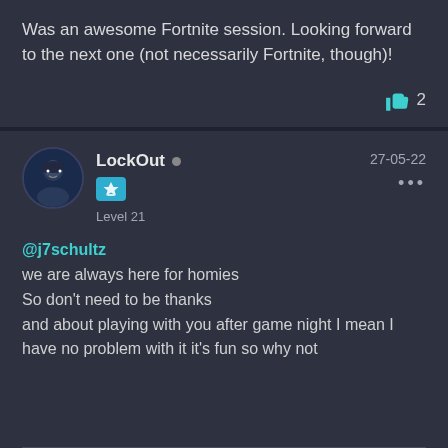Was an awesome Fortnite session. Looking forward to the next one (not necessarily Fortnite, though)!
👍 2
LockOut • Level 21 — 27-05-22
@j7schultz
we are always here for homies
So don't need to be thanks
and about playing with you after game night I mean I have no problem with it it's fun so why not